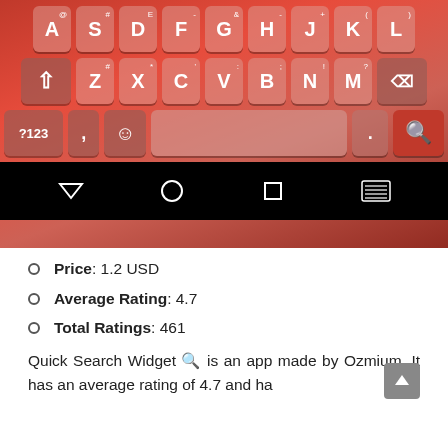[Figure (screenshot): Screenshot of a red-themed Android keyboard showing keys A-L on top row, shift/Z-M/delete row, and bottom row with ?123, comma, emoji, spacebar, period, search button. Navigation bar below with back, home, recents, and keyboard icons.]
Price: 1.2 USD
Average Rating: 4.7
Total Ratings: 461
Quick Search Widget 🔍 is an app made by Ozmium. It has an average rating of 4.7 and has